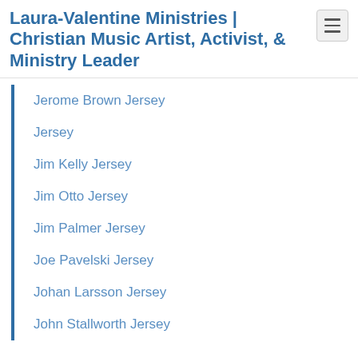Laura-Valentine Ministries | Christian Music Artist, Activist, & Ministry Leader
Jerome Brown Jersey
Jersey
Jim Kelly Jersey
Jim Otto Jersey
Jim Palmer Jersey
Joe Pavelski Jersey
Johan Larsson Jersey
John Stallworth Jersey